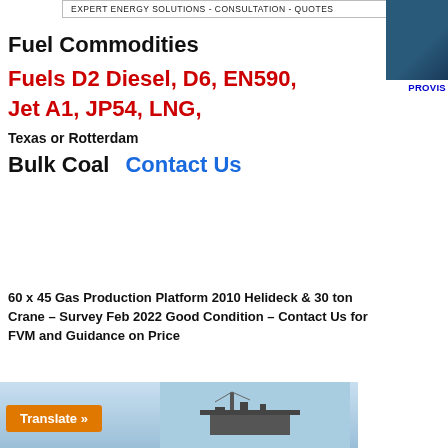EXPERT ENERGY SOLUTIONS - CONSULTATION - QUOTES
Fuel Commodities
Fuels D2 Diesel, D6, EN590, Jet A1, JP54, LNG,
Texas or Rotterdam
Bulk Coal   Contact Us
60 x 45 Gas Production Platform 2010 Helideck & 30 ton Crane – Survey Feb 2022 Good Condition – Contact Us for FVM and Guidance on Price
[Figure (photo): Bottom portion showing a translate button and a ship/platform silhouette against a blue sky background]